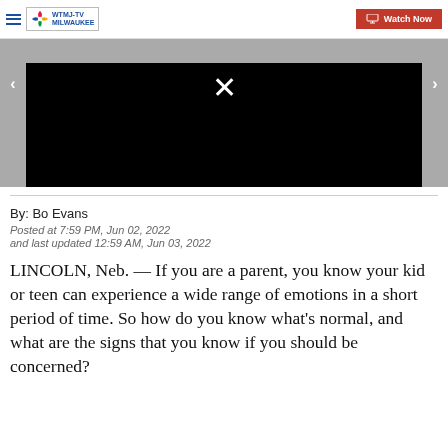WTMJ-TV Milwaukee | Watch Now
[Figure (screenshot): Black video player with close X button, left and right navigation arrows, gray background]
By: Bo Evans
Posted at 7:59 PM, Jun 02, 2022
and last updated 12:59 AM, Jun 03, 2022
LINCOLN, Neb.  — If you are a parent, you know your kid or teen can experience a wide range of emotions in a short period of time. So how do you know what's normal, and what are the signs that you know if you should be concerned?